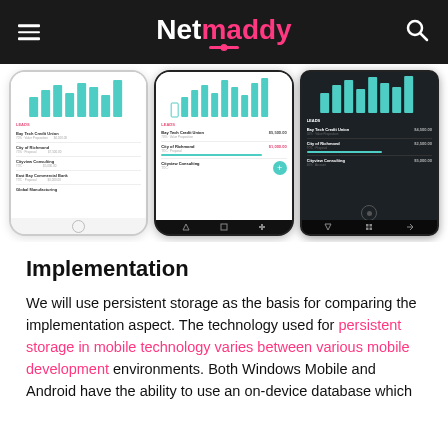Netmaddy
[Figure (screenshot): Three mobile phone screenshots (iPhone, Android, Windows Phone) showing a CRM/sales app with bar charts and leads lists]
Implementation
We will use persistent storage as the basis for comparing the implementation aspect. The technology used for persistent storage in mobile technology varies between various mobile development environments. Both Windows Mobile and Android have the ability to use an on-device database which